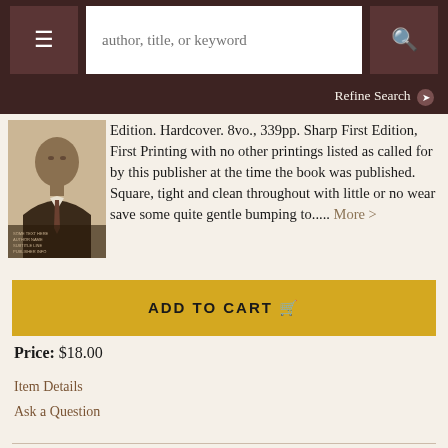[Figure (screenshot): Website navigation bar with menu button, search field placeholder 'author, title, or keyword', and search button]
Refine Search ❯
[Figure (photo): Book cover showing a man in suit, sepia toned portrait]
Edition. Hardcover. 8vo., 339pp. Sharp First Edition, First Printing with no other printings listed as called for by this publisher at the time the book was published. Square, tight and clean throughout with little or no wear save some quite gentle bumping to..... More >
ADD TO CART 🛒
Price: $18.00
Item Details
Ask a Question